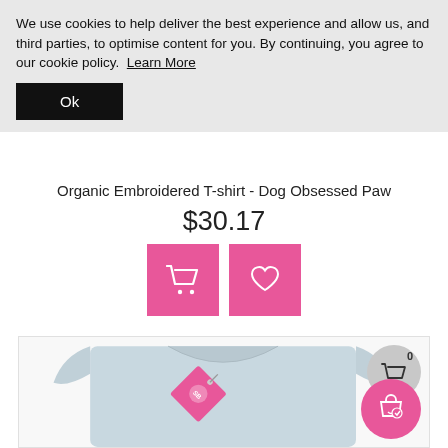We use cookies to help deliver the best experience and allow us, and third parties, to optimise content for you. By continuing, you agree to our cookie policy. Learn More
Ok
Organic Embroidered T-shirt - Dog Obsessed Paw
$30.17
[Figure (screenshot): Two pink square buttons: one with a shopping cart icon, one with a heart icon]
[Figure (photo): Light blue organic t-shirt folded with a pink diamond-shaped brand tag attached, shown from above. A grey circular cart badge shows '0' in the top-right. A pink circular shopping bag/heart button is in the bottom-right.]